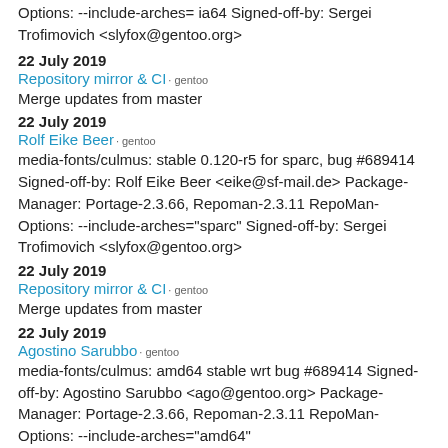Options: --include-arches= ia64 Signed-off-by: Sergei Trofimovich <slyfox@gentoo.org>
22 July 2019
Repository mirror & CI · gentoo
Merge updates from master
22 July 2019
Rolf Eike Beer · gentoo
media-fonts/culmus: stable 0.120-r5 for sparc, bug #689414 Signed-off-by: Rolf Eike Beer <eike@sf-mail.de> Package-Manager: Portage-2.3.66, Repoman-2.3.11 RepoMan-Options: --include-arches="sparc" Signed-off-by: Sergei Trofimovich <slyfox@gentoo.org>
22 July 2019
Repository mirror & CI · gentoo
Merge updates from master
22 July 2019
Agostino Sarubbo · gentoo
media-fonts/culmus: amd64 stable wrt bug #689414 Signed-off-by: Agostino Sarubbo <ago@gentoo.org> Package-Manager: Portage-2.3.66, Repoman-2.3.11 RepoMan-Options: --include-arches="amd64"
10 June 2019
Repository mirror & CI